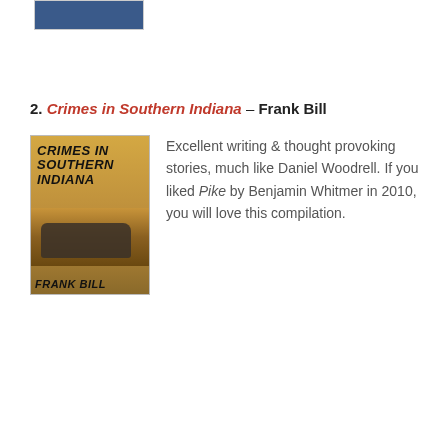[Figure (photo): Partial book cover image at top of page (cropped, showing blue cover)]
2. Crimes in Southern Indiana – Frank Bill
[Figure (photo): Book cover of 'Crimes in Southern Indiana' by Frank Bill, showing a rusted car in a field]
Excellent writing & thought provoking stories, much like Daniel Woodrell. If you liked Pike by Benjamin Whitmer in 2010, you will love this compilation.